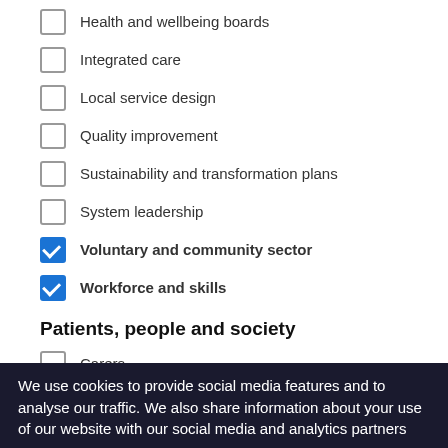Health and wellbeing boards
Integrated care
Local service design
Quality improvement
Sustainability and transformation plans
System leadership
Voluntary and community sector
Workforce and skills
Patients, people and society
Carers
Health inequalities
Older people
Patient experience
Patient involvement
We use cookies to provide social media features and to analyse our traffic. We also share information about your use of our website with our social media and analytics partners